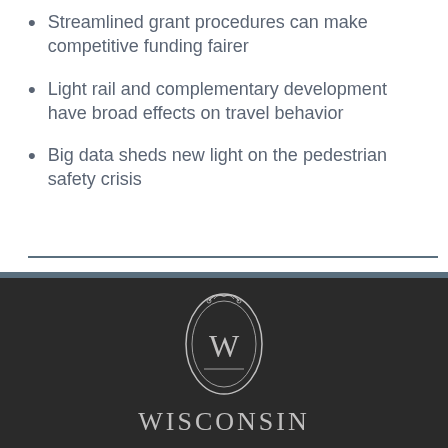Streamlined grant procedures can make competitive funding fairer
Light rail and complementary development have broad effects on travel behavior
Big data sheds new light on the pedestrian safety crisis
[Figure (logo): University of Wisconsin crest/shield logo with W monogram, ornate oval frame, above the word WISCONSIN in capital letters]